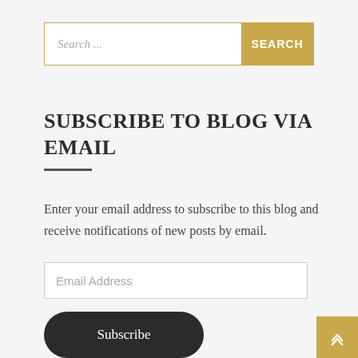[Figure (screenshot): Search bar with text input placeholder 'Search ...' and a gold 'SEARCH' button on the right]
SUBSCRIBE TO BLOG VIA EMAIL
Enter your email address to subscribe to this blog and receive notifications of new posts by email.
[Figure (screenshot): Email Address input field]
[Figure (screenshot): Subscribe button (dark rounded pill shape)]
[Figure (screenshot): Gold corner button with upward chevron arrow at bottom right]